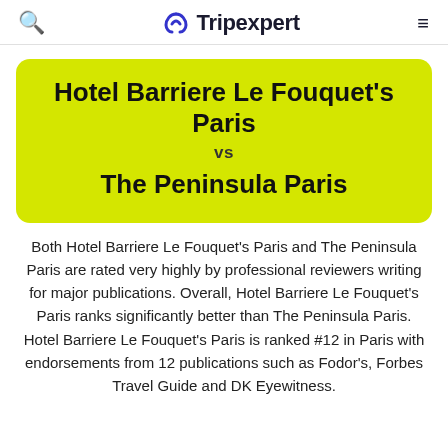Tripexpert
Hotel Barriere Le Fouquet's Paris vs The Peninsula Paris
Both Hotel Barriere Le Fouquet's Paris and The Peninsula Paris are rated very highly by professional reviewers writing for major publications. Overall, Hotel Barriere Le Fouquet's Paris ranks significantly better than The Peninsula Paris. Hotel Barriere Le Fouquet's Paris is ranked #12 in Paris with endorsements from 12 publications such as Fodor's, Forbes Travel Guide and DK Eyewitness.